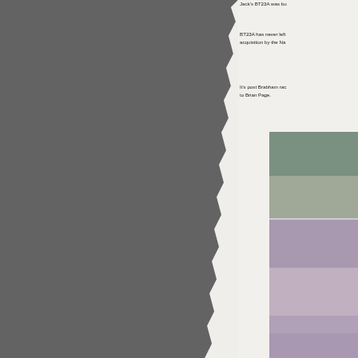Jack's BT23A was bu
BT23A has never left acquisition by the Na
It's post Brabham rac to Brian Page.
[Figure (photo): Two stacked photos showing a racing car in motion on a track, the lower image featuring a yellow car.]